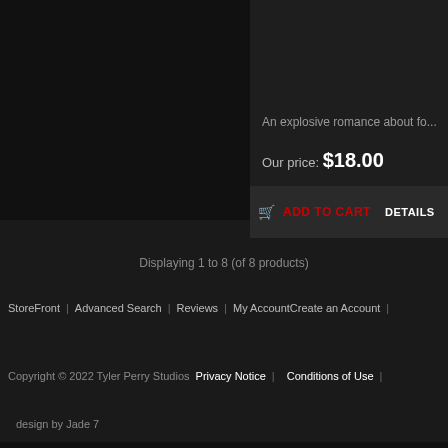An explosive romance about fo...
Our price: $18.00
ADD TO CART   DETAILS
Displaying 1 to 8 (of 8 products)
StoreFront | Advanced Search | Reviews | My AccountCreate an Account |
Copyright © 2022 Tyler Perry Studios   Privacy Notice | Conditions of Use |
design by Jade 7